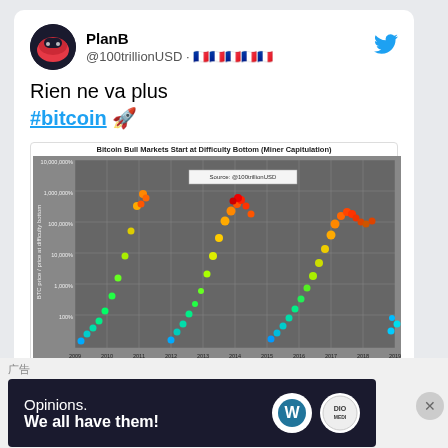PlanB @100trillionUSD · 🇫🇷🇫🇷🇫🇷🇫🇷🇫🇷
Rien ne va plus #bitcoin 🚀
[Figure (scatter-plot): Scatter plot of BTC price ratio vs blocks since difficulty bottom, colored by time period (2009-2020), showing multiple bull market cycles as rainbow-colored dot trails.]
广告
Opinions. We all have them!